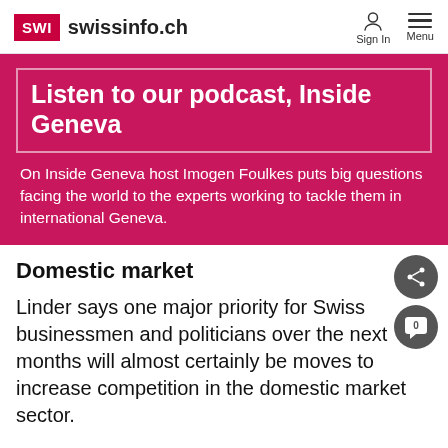SWI swissinfo.ch
[Figure (infographic): Pink/magenta promotional banner for the 'Inside Geneva' podcast on swissinfo.ch. Contains a white-bordered box with bold white title 'Listen to our podcast, Inside Geneva' and description text 'On Inside Geneva host Imogen Foulkes puts big questions facing the world to the experts working to tackle them in international Geneva.']
Domestic market
Linder says one major priority for Swiss businessmen and politicians over the next months will almost certainly be moves to increase competition in the domestic market sector.